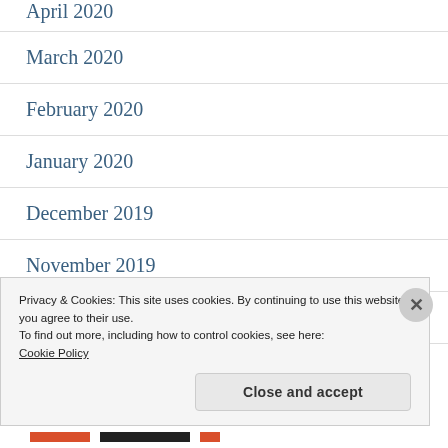April 2020
March 2020
February 2020
January 2020
December 2019
November 2019
October 2019
Privacy & Cookies: This site uses cookies. By continuing to use this website, you agree to their use.
To find out more, including how to control cookies, see here:
Cookie Policy
Close and accept